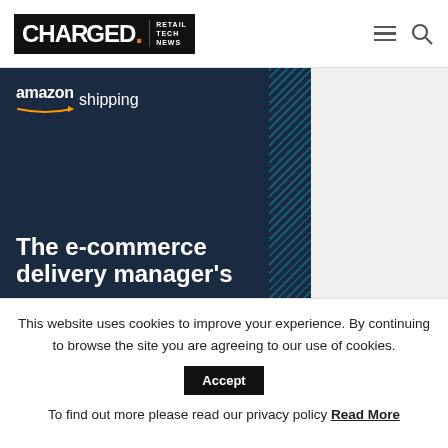CHARGED. RETAIL TECH NEWS
[Figure (illustration): Amazon Shipping advertisement banner with dark navy background, diagonal stripe pattern on right edge, Amazon Shipping logo at top left, and partial headline text 'The e-commerce delivery manager's' in white at bottom]
This website uses cookies to improve your experience. By continuing to browse the site you are agreeing to our use of cookies. Accept To find out more please read our privacy policy Read More